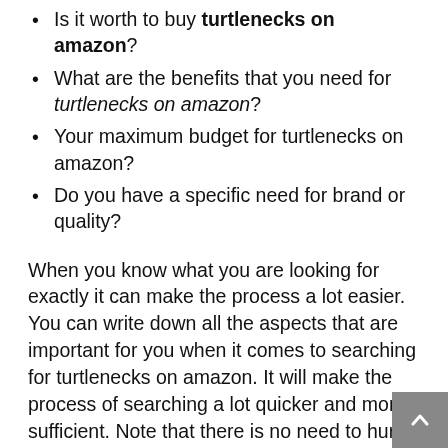Is it worth to buy turtlenecks on amazon?
What are the benefits that you need for turtlenecks on amazon?
Your maximum budget for turtlenecks on amazon?
Do you have a specific need for brand or quality?
When you know what you are looking for exactly it can make the process a lot easier. You can write down all the aspects that are important for you when it comes to searching for turtlenecks on amazon. It will make the process of searching a lot quicker and more sufficient. Note that there is no need to hurry or push yourself when you look for turtlenecks on amazon. If you want to have the best